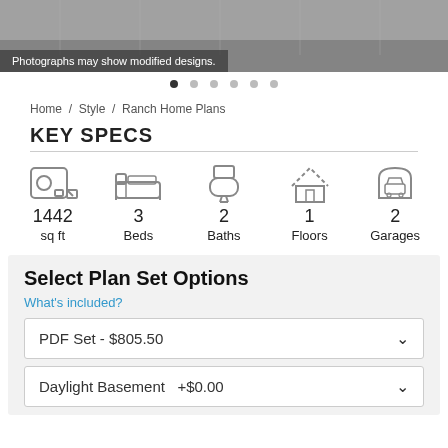[Figure (photo): Banner photo of a ranch home exterior, partially visible at top of page]
Photographs may show modified designs.
Home / Style / Ranch Home Plans
KEY SPECS
[Figure (infographic): Key specs icons: floor plan (1442 sq ft), bed (3 Beds), bath (2 Baths), house floors (1 Floors), garage (2 Garages)]
Select Plan Set Options
What's included?
PDF Set - $805.50
Daylight Basement  +$0.00